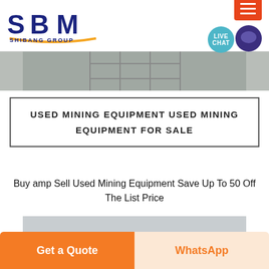[Figure (logo): SBM Shibang Group logo with blue text and orange arc underline]
[Figure (photo): Partial banner image of mining or construction equipment]
USED MINING EQUIPMENT USED MINING EQUIPMENT FOR SALE
Buy amp Sell Used Mining Equipment Save Up To 50 Off The List Price
[Figure (photo): Gray placeholder image area for mining equipment photo]
Get a Quote
WhatsApp